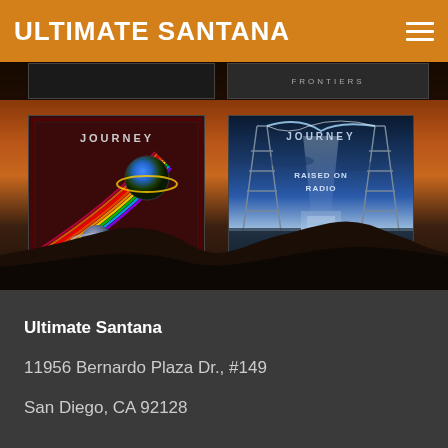ULTIMATE SANTANA
[Figure (screenshot): Screenshot of a mobile website for Ultimate Santana showing Journey album covers (Departure and Raised on Radio) displayed against a sunset/mountain background. Top strip shows partial album thumbnails. Below the album art is a dark mountain silhouette against a gradient orange-brown sky.]
Ultimate Santana
11956 Bernardo Plaza Dr., #149
San Diego, CA 92128